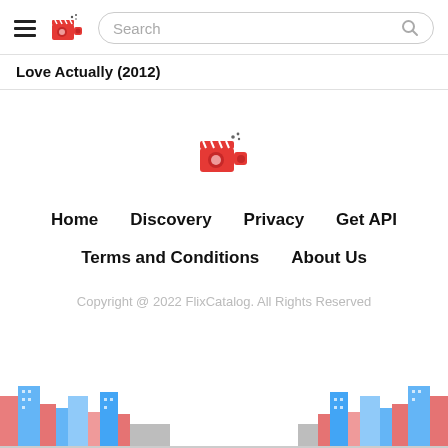Search
Love Actually (2012)
[Figure (logo): FlixCatalog logo: a red movie clapperboard/camera icon in the center of the page]
Home
Discovery
Privacy
Get API
Terms and Conditions
About Us
Copyright @ 2022 FlixCatalog. All Rights Reserved
[Figure (illustration): City buildings illustration on left and right corners at the bottom of the page]